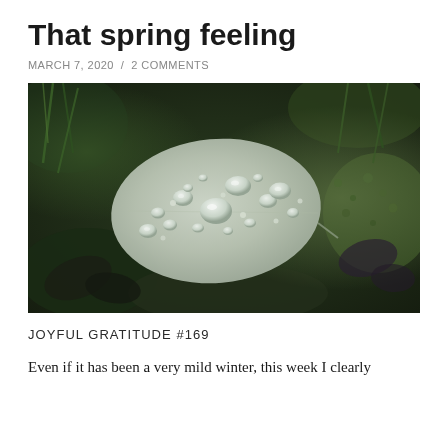That spring feeling
MARCH 7, 2020  /  2 COMMENTS
[Figure (photo): Close-up photograph of a pale translucent leaf covered in water droplets, lying on green moss with dark foliage in the background]
JOYFUL GRATITUDE #169
Even if it has been a very mild winter, this week I clearly